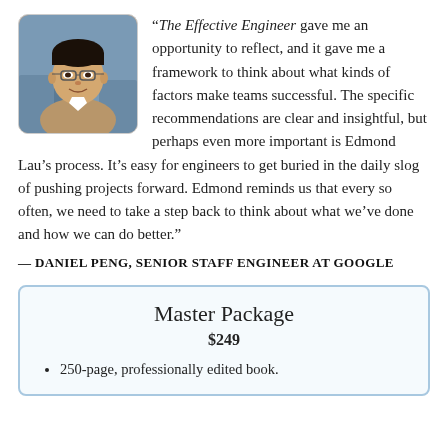[Figure (photo): Headshot of a smiling Asian man with glasses, outdoors, wearing a tan jacket.]
“The Effective Engineer gave me an opportunity to reflect, and it gave me a framework to think about what kinds of factors make teams successful. The specific recommendations are clear and insightful, but perhaps even more important is Edmond Lau’s process. It’s easy for engineers to get buried in the daily slog of pushing projects forward. Edmond reminds us that every so often, we need to take a step back to think about what we’ve done and how we can do better.”
— DANIEL PENG, SENIOR STAFF ENGINEER AT GOOGLE
Master Package
$249
250-page, professionally edited book.